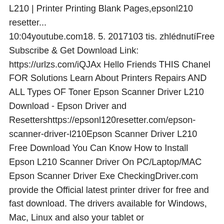L210 | Printer Printing Blank Pages,epsonl210 resetter...10:04youtube.com18. 5. 2017103 tis. zhlédnutíFree Subscribe & Get Download Link: https://urlzs.com/iQJAx Hello Friends THIS Chanel FOR Solutions Learn About Printers Repairs AND ALL Types OF Toner Epson Scanner Driver L210 Download - Epson Driver and Resettershttps://epsonl120resetter.com/epson-scanner-driver-l210Epson Scanner Driver L210 Free Download You Can Know How to Install Epson L210 Scanner Driver On PC/Laptop/MAC Epson Scanner Driver Exe CheckingDriver.com provide the Official latest printer driver for free and fast download. The drivers available for Windows, Mac, Linux and also your tablet or smartphones.New Epson L210 Driver Printer Download | Download Latest...https://printerchecker.com/new-epson-l210-driver-printer-downloadBelow we provide New Epson L210 Driver Printer Download for free, click on the links below to get started. This driver is ava Epson L210 Printer Driver Download Support for Os: Windows XP Windows Vista